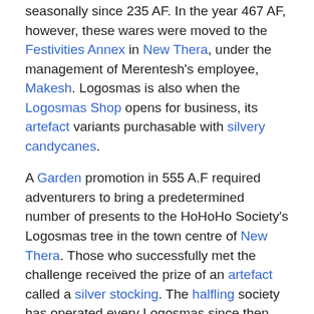seasonally since 235 AF. In the year 467 AF, however, these wares were moved to the Festivities Annex in New Thera, under the management of Merentesh's employee, Makesh. Logosmas is also when the Logosmas Shop opens for business, its artefact variants purchasable with silvery candycanes.
A Garden promotion in 555 A.F required adventurers to bring a predetermined number of presents to the HoHoHo Society's Logosmas tree in the town centre of New Thera. Those who successfully met the challenge received the prize of an artefact called a silver stocking. The halfling society has operated every Logosmas since then, offering small, limited-time quests and spreading seasonal cheer.
In the Logosmas of 876 AF the path to the hidden halfling village of Merrywick opened to the public in the mountains above Actar Valley, the home of the HoHoHo Society and